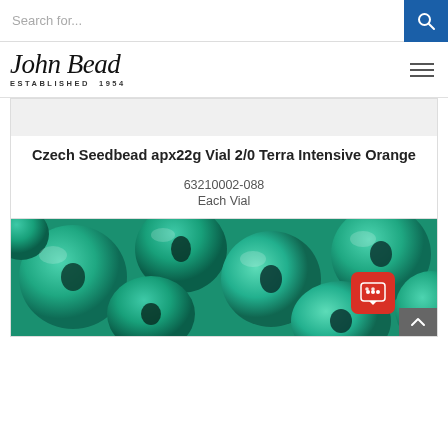Search for...
[Figure (logo): John Bead logo with script text and 'ESTABLISHED 1954' below]
[Figure (photo): White/light gray product image placeholder (cropped top of product card)]
Czech Seedbead apx22g Vial 2/0 Terra Intensive Orange
63210002-088
Each Vial
[Figure (photo): Close-up photo of teal/green Czech seed beads]